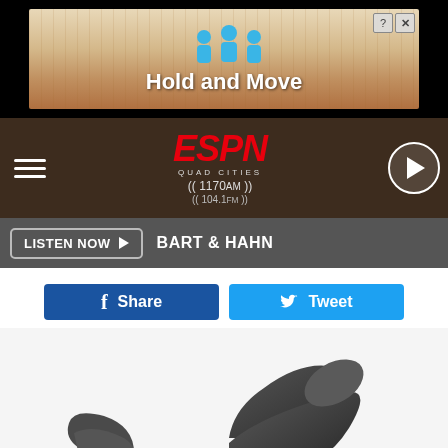[Figure (screenshot): Top advertisement banner showing 'Hold and Move' with blue figures icon on tan/wood-grain background, with close button]
[Figure (screenshot): ESPN Quad Cities radio header bar showing ESPN logo in red italic, '1170am' and '104.1fm' frequencies, hamburger menu on left, play button on right, on dark brown background]
[Figure (screenshot): Dark grey bar with 'LISTEN NOW' button and 'BART & HAHN' text]
[Figure (screenshot): Facebook Share button (blue) and Twitter Tweet button (light blue) social sharing row]
[Figure (photo): Dark grey recliner chair shown from an angle, appearing to swivel on a round chrome base, floating/tilted on white background]
Ashburn: Unsold Recliners Now May Be Almost Given Away: See Prices
Unsold Recliners
[Figure (screenshot): BitLife advertisement banner with 'NOW WITH GOD MODE' text and hand pointing finger graphic on dark background, with close button]